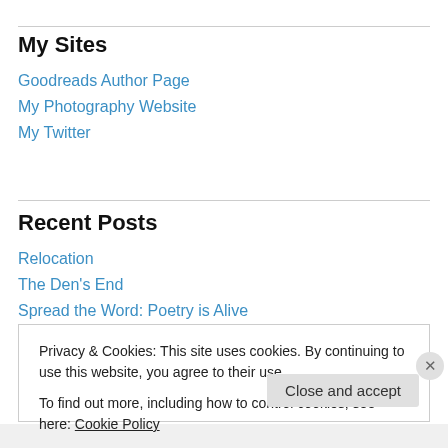My Sites
Goodreads Author Page
My Photography Website
My Twitter
Recent Posts
Relocation
The Den's End
Spread the Word: Poetry is Alive
Privacy & Cookies: This site uses cookies. By continuing to use this website, you agree to their use. To find out more, including how to control cookies, see here: Cookie Policy
Close and accept